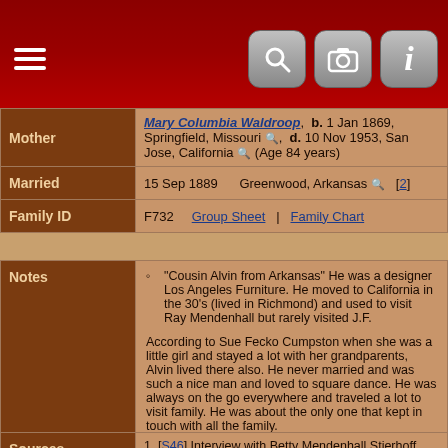Navigation header with hamburger menu, search, camera, and info icons
| Field | Value |
| --- | --- |
| Mother | Mary Columbia Waldroop, b. 1 Jan 1869, Springfield, Missouri, d. 10 Nov 1953, San Jose, California (Age 84 years) |
| Married | 15 Sep 1889 | Greenwood, Arkansas [2] |
| Family ID | F732 | Group Sheet | Family Chart |
| Field | Value |
| --- | --- |
| Notes | "Cousin Alvin from Arkansas" He was a designer Los Angeles Furniture. He moved to California in the 30's (lived in Richmond) and used to visit Ray Mendenhall but rarely visited J.F.

According to Sue Fecko Cumpston when she was a little girl and stayed a lot with her grandparents, Alvin lived there also. He never married and was such a nice man and loved to square dance. He was always on the go everywhere and traveled a lot to visit family. He was about the only one that kept in touch with all the family.

Research: Ruie Mendenhall says Alvin died in December 1973. He died of lung cancer. [7] |
| Field | Value |
| --- | --- |
| Sources | 1. [S46] Interview with Betty Mendenhall Stierhoff and Marie Mendenhall Bisher (FE#7, SN#7, 1 |